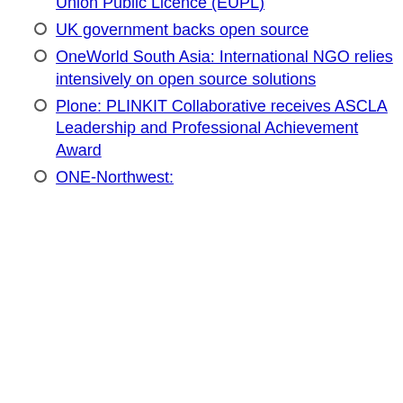Plone: Launch of a new user group focusing on Eastern Europe
Open Source Initiative approves European Union Public Licence (EUPL)
UK government backs open source
OneWorld South Asia: International NGO relies intensively on open source solutions
Plone: PLINKIT Collaborative receives ASCLA Leadership and Professional Achievement Award
ONE-Northwest: ...